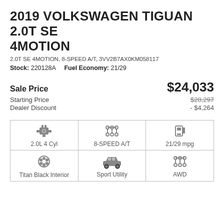2019 VOLKSWAGEN TIGUAN 2.0T SE 4MOTION
2.0T SE 4MOTION, 8-SPEED A/T, 3VV2B7AX0KM058117
Stock: 220128A    Fuel Economy: 21/29
Sale Price   $24,033
Starting Price   $28,297
Dealer Discount   - $4,264
| Engine | Transmission | Fuel Economy |
| --- | --- | --- |
| 2.0L 4 Cyl | 8-SPEED A/T | 21/29 mpg |
| Titan Black Interior | Sport Utility | AWD |